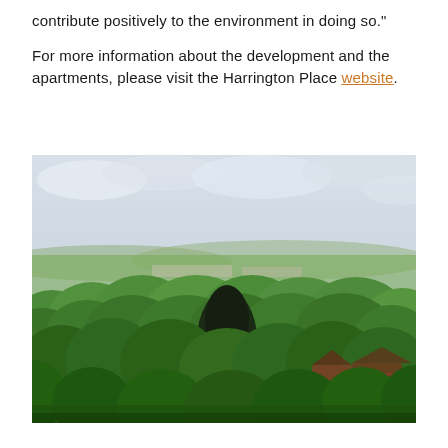contribute positively to the environment in doing so."

For more information about the development and the apartments, please visit the Harrington Place website.
[Figure (photo): Aerial view of a lush green English town with abundant trees, residential rooftops visible through the canopy, and a pale cloudy sky in the background.]